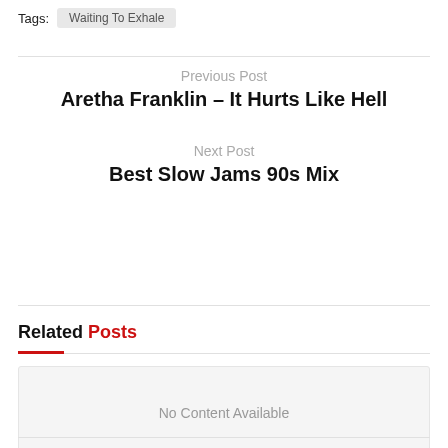Tags: Waiting To Exhale
Previous Post
Aretha Franklin – It Hurts Like Hell
Next Post
Best Slow Jams 90s Mix
Related Posts
No Content Available